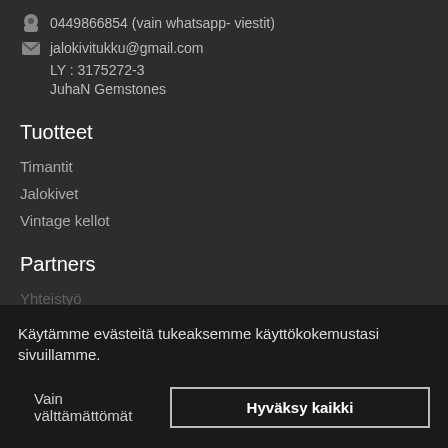0449866854 (vain whatsapp- viestit)
jalokivitukku@gmail.com
LY : 3175272-3
JuhaN Gemstones
Tuotteet
Timantit
Jalokivet
Vintage kellot
Partners
Yhteistyö
Asiakas info
Kirjaudu sisaan
Käytämme evästeitä tukeaksemme käyttökokemustasi sivuillamme.
Vain välttämättömät
Hyväksy kaikki